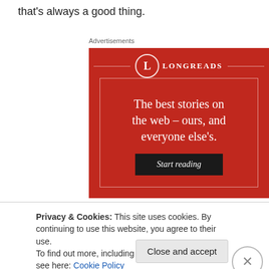that's always a good thing.
Advertisements
[Figure (illustration): Longreads advertisement: red background with Longreads logo (circle with L), tagline 'The best stories on the web – ours, and everyone else's.' and a dark 'Start reading' button.]
Privacy & Cookies: This site uses cookies. By continuing to use this website, you agree to their use.
To find out more, including how to control cookies, see here: Cookie Policy
Close and accept